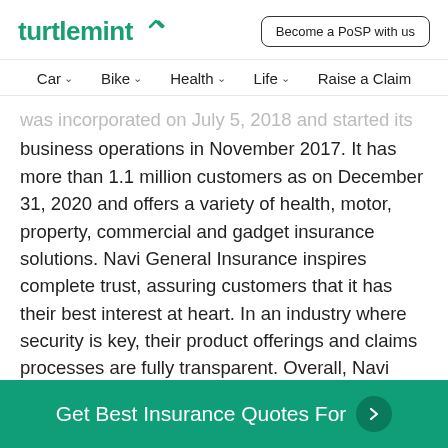turtlemint | Become a PoSP with us
Car  Bike  Health  Life  Raise a Claim
was incorporated on July 5, 2018 and started its business operations in November 2017. It has more than 1.1 million customers as on December 31, 2020 and offers a variety of health, motor, property, commercial and gadget insurance solutions. Navi General Insurance inspires complete trust, assuring customers that it has their best interest at heart. In an industry where security is key, their product offerings and claims processes are fully transparent. Overall, Navi General Insurance provides customers with
Get Best Insurance Quotes For